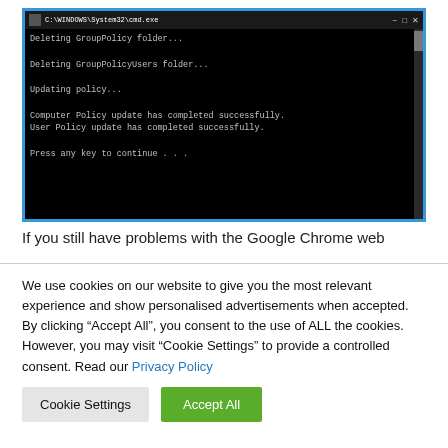[Figure (screenshot): Windows Command Prompt (C:\WINDOWS\System32\cmd.exe) showing output: Deleting GroupPolicy folder... Deleting GroupPolicyUsers folder... Updating policy... Computer Policy update has completed successfully. User Policy update has completed successfully. Press any key to continue . . .]
If you still have problems with the Google Chrome web
We use cookies on our website to give you the most relevant experience and show personalised advertisements when accepted. By clicking “Accept All”, you consent to the use of ALL the cookies. However, you may visit "Cookie Settings" to provide a controlled consent. Read our Privacy Policy